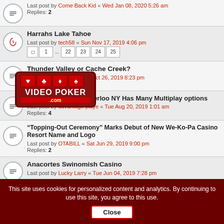Last post by Come Back Kid « Wed Jan 08, 2020 5:26 am
Replies: 2
Harrahs Lake Tahoe
Last post by tech58 « Sun Nov 17, 2019 4:06 pm
Replies: 1 ... 22 23 24 25
[Figure (logo): Video Poker .com logo with card suits]
Thunder Valley or Cache Creek?
Last post by sjshark « Sat Oct 26, 2019 8:23 pm
Replies: 5
Del Lago Hotel In Waterloo NY Has Many Multiplay options
Last post by advantage playe « Tue Aug 20, 2019 1:01 am
Replies: 4
"Topping-Out Ceremony" Marks Debut of New We-Ko-Pa Casino Resort Name and Logo
Last post by OTABILL « Sat Jun 29, 2019 9:00 pm
Replies: 2
Anacortes Swinomish Casino
Last post by Lucky Larry « Tue Jun 04, 2019 7:28 pm
[Figure (photo): Advertisement banner: left side shows weight loss ad with woman, right side shows Snake Game (2022) Play Now ad]
This site uses cookies for personalized content and analytics. By continuing to use this site, you agree to this use. Close